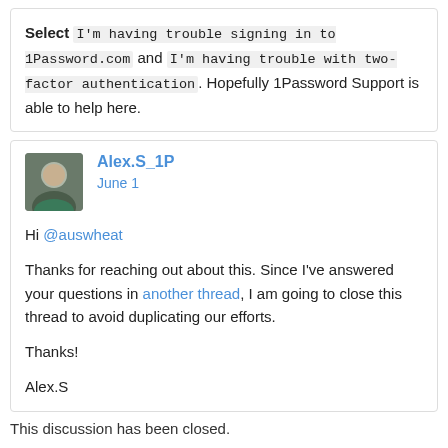Select I'm having trouble signing in to 1Password.com and I'm having trouble with two-factor authentication . Hopefully 1Password Support is able to help here.
Alex.S_1P
June 1

Hi @auswheat

Thanks for reaching out about this. Since I've answered your questions in another thread, I am going to close this thread to avoid duplicating our efforts.

Thanks!

Alex.S
This discussion has been closed.